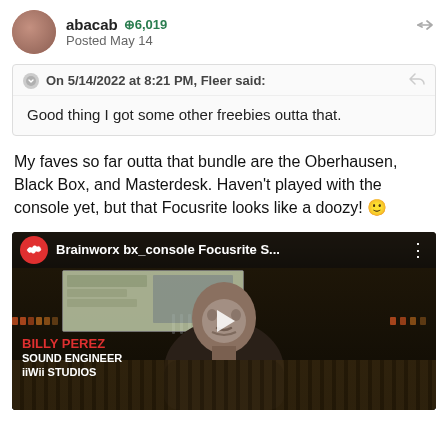abacab  +6,019  Posted May 14
On 5/14/2022 at 8:21 PM, Fleer said:
Good thing I got some other freebies outta that.
My faves so far outta that bundle are the Oberhausen, Black Box, and Masterdesk. Haven't played with the console yet, but that Focusrite looks like a doozy! 🙂
[Figure (screenshot): YouTube-style video thumbnail for 'Brainworx bx_console Focusrite S...' showing a man (Billy Perez, Sound Engineer, iiWii Studios) in front of a mixing console, with a red play button overlay.]